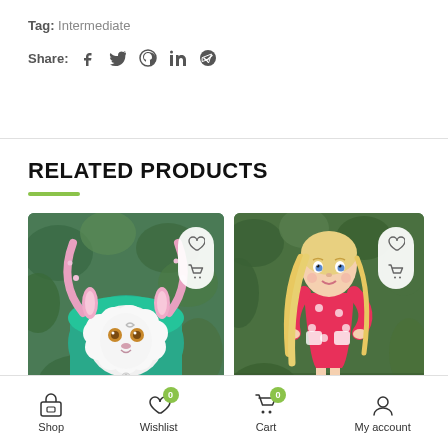Tag: Intermediate
Share: (facebook) (twitter) (pinterest) (linkedin) (telegram)
RELATED PRODUCTS
[Figure (photo): Teal/green handbag with a cute sheep/lamb face applique and pink bunny ear straps, photographed against green ivy leaves background.]
[Figure (photo): Blonde-haired fashion doll wearing a pink polka dot dress, posed outdoors against a green garden background.]
Shop | Wishlist 0 | Cart 0 | My account